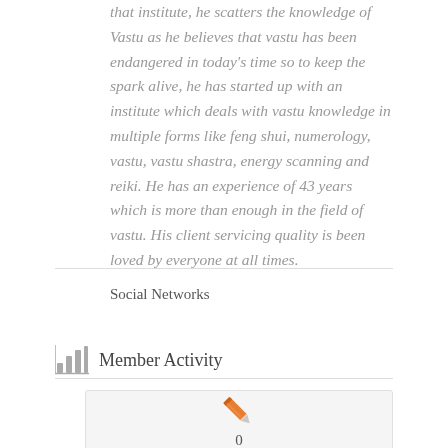that institute, he scatters the knowledge of Vastu as he believes that vastu has been endangered in today's time so to keep the spark alive, he has started up with an institute which deals with vastu knowledge in multiple forms like feng shui, numerology, vastu, vastu shastra, energy scanning and reiki. He has an experience of 43 years which is more than enough in the field of vastu. His client servicing quality is been loved by everyone at all times.
Social Networks
Member Activity
[Figure (infographic): Activity box with orange pencil icon and number 0 below it, on a light grey background]